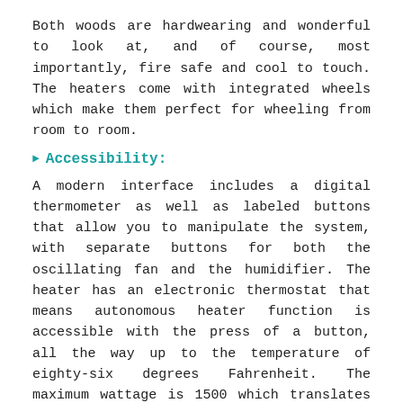Both woods are hardwearing and wonderful to look at, and of course, most importantly, fire safe and cool to touch. The heaters come with integrated wheels which make them perfect for wheeling from room to room.
▶ Accessibility:
A modern interface includes a digital thermometer as well as labeled buttons that allow you to manipulate the system, with separate buttons for both the oscillating fan and the humidifier. The heater has an electronic thermostat that means autonomous heater function is accessible with the press of a button, all the way up to the temperature of eighty-six degrees Fahrenheit. The maximum wattage is 1500 which translates to a high heat output thanks to the quartz run infrared technology.
▶ Features: